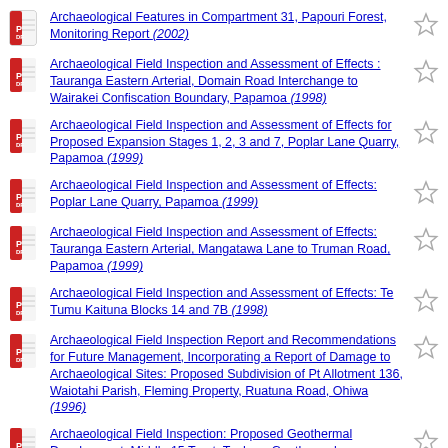Archaeological Features in Compartment 31, Papouri Forest, Monitoring Report (2002)
Archaeological Field Inspection and Assessment of Effects : Tauranga Eastern Arterial, Domain Road Interchange to Wairakei Confiscation Boundary, Papamoa (1998)
Archaeological Field Inspection and Assessment of Effects for Proposed Expansion Stages 1, 2, 3 and 7, Poplar Lane Quarry, Papamoa (1999)
Archaeological Field Inspection and Assessment of Effects: Poplar Lane Quarry, Papamoa (1999)
Archaeological Field Inspection and Assessment of Effects: Tauranga Eastern Arterial, Mangatawa Lane to Truman Road, Papamoa (1999)
Archaeological Field Inspection and Assessment of Effects: Te Tumu Kaituna Blocks 14 and 7B (1998)
Archaeological Field Inspection Report and Recommendations for Future Management, Incorporating a Report of Damage to Archaeological Sites: Proposed Subdivision of Pt Allotment 136, Waiotahi Parish, Fleming Property, Ruatuna Road, Ohiwa (1996)
Archaeological Field Inspection: Proposed Geothermal Development, Middle 15 Trust, Tauhara Geothermal